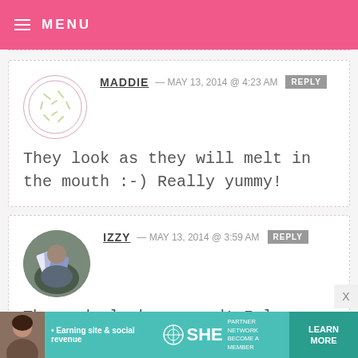MENU
MADDIE — MAY 13, 2014 @ 4:23 AM  REPLY
They look as they will melt in the mouth :-) Really yummy!
IZZY — MAY 13, 2014 @ 3:59 AM  REPLY
These do look so good! I love the flavour of real lemons.
[Figure (infographic): Ad banner: SHE Partner Network - Earning site & social revenue. LEARN MORE button.]